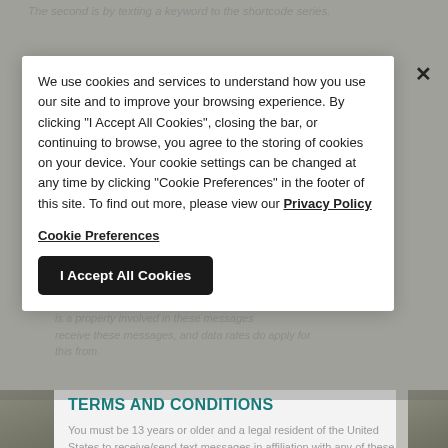The second is by texting a keyword to the shortcode series.
MESSAGES
follow our opt-out instructions in this applicable message display any your cancellations.
We use cookies and services to understand how you use our site and to improve your browsing experience. By clicking "I Accept All Cookies", closing the bar, or continuing to browse, you agree to the storing of cookies on your device. Your cookie settings can be changed at any time by clicking "Cookie Preferences" in the footer of this site. To find out more, please view our Privacy Policy
Cookie Preferences
I Accept All Cookies
is a property involved in these messages receive these messages, and data rates do apply for this from.
TERMS AND CONDITIONS
You must be 13 years or older and a legal resident of the United States to receive/send text messages in affiliation with any of these subscriptions. By your participation in these property subscriptions, you certify that you are at